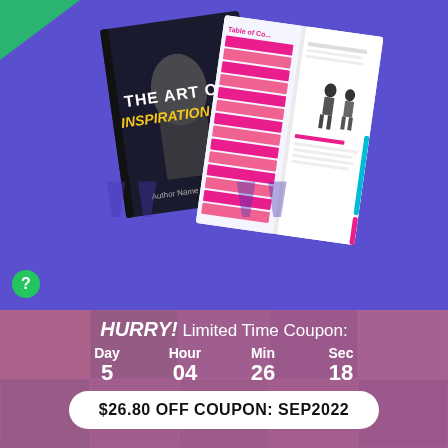[Figure (illustration): Book cover 'THE ART OF INSPIRATION' with open book pages showing Table of Contents with pink/magenta striped rows and a fashion/style interior page, on purple/blue background]
[Figure (infographic): Green circle with question mark icon on left side]
HURRY! Limited Time Coupon:
Day 5   Hour 04   Min 26   Sec 18
$26.80 OFF COUPON: SEP2022